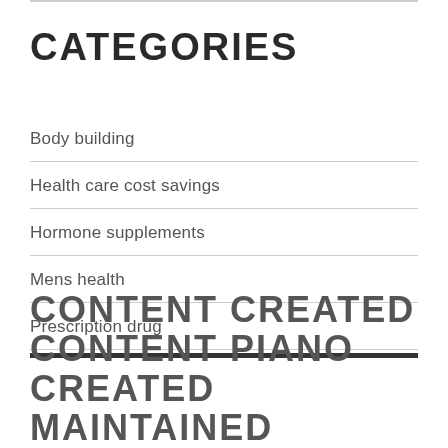CATEGORIES
Body building
Health care cost savings
Hormone supplements
Mens health
Prescription drug
CONTENT CREATED CONTENT PIANO CREATED MAINTAINED